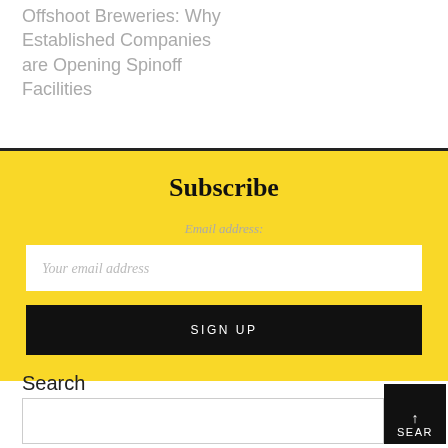Offshoot Breweries: Why Established Companies are Opening Spinoff Facilities
Subscribe
Email address:
Your email address
SIGN UP
Search
SEAR